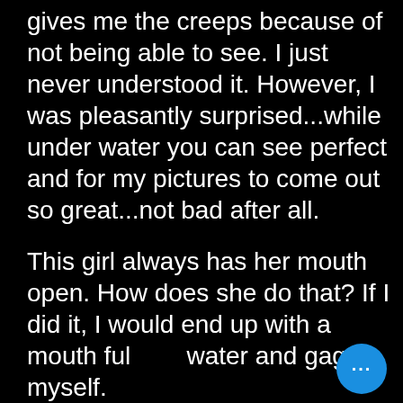gives me the creeps because of not being able to see. I just never understood it. However, I was pleasantly surprised...while under water you can see perfect and for my pictures to come out so great...not bad after all.
This girl always has her mouth open. How does she do that? If I did it, I would end up with a mouth full of water and gag myself.